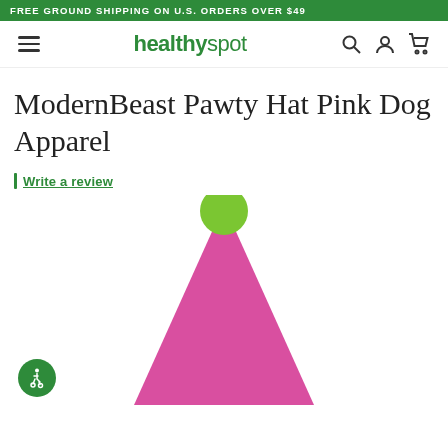FREE GROUND SHIPPING ON U.S. ORDERS OVER $49
[Figure (logo): Healthy Spot logo with hamburger menu, search, account, and cart icons in navbar]
ModernBeast Pawty Hat Pink Dog Apparel
Write a review
[Figure (photo): Pink cone-shaped party hat with green pom-pom on top, product photo on white background]